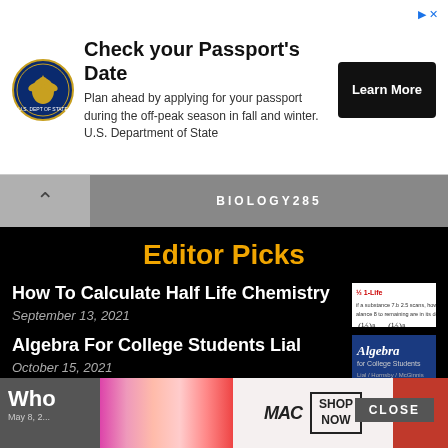[Figure (other): US Department of State advertisement banner: eagle seal logo, text 'Check your Passport's Date – Plan ahead by applying for your passport during the off-peak season in fall and winter. U.S. Department of State', with a 'Learn More' black button]
BIOLOGY285
Editor Picks
How To Calculate Half Life Chemistry
September 13, 2021
[Figure (other): Thumbnail image showing half-life chemistry math calculations with fractions]
Algebra For College Students Lial
October 15, 2021
[Figure (other): Thumbnail image of Algebra for College Students textbook cover by Lial/Hornsby/McGinnis, blue cover with colorful abstract design]
[Figure (other): Bottom advertisement banner showing MAC cosmetics lipstick products with 'SHOP NOW' button]